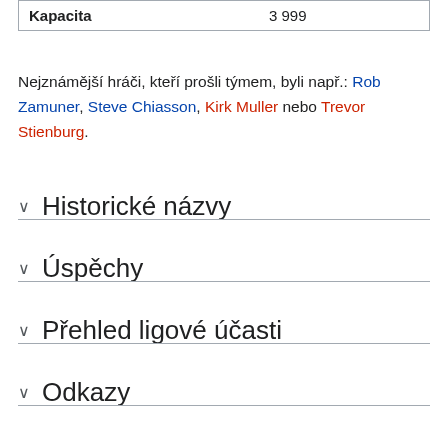| Kapacita | 3 999 |
| --- | --- |
Nejznámější hráči, kteří prošli týmem, byli např.: Rob Zamuner, Steve Chiasson, Kirk Muller nebo Trevor Stienburg.
Historické názvy
Úspěchy
Přehled ligové účasti
Odkazy